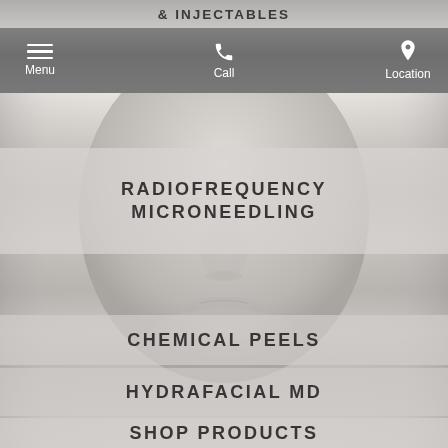& INJECTABLES
[Figure (screenshot): Mobile app navigation bar with hamburger menu (Menu), phone icon (Call), and location pin icon (Location) on grey gradient background]
[Figure (photo): Close-up of a woman's face with neutral skin tone on a light grey background, partially visible (nose and lower face area)]
RADIOFREQUENCY MICRONEEDLING
CHEMICAL PEELS
HYDRAFACIAL MD
SHOP PRODUCTS